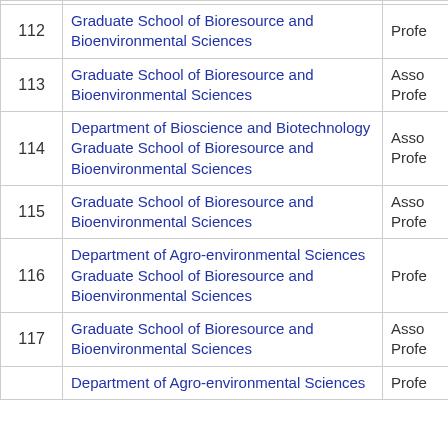| # | Department | Role |
| --- | --- | --- |
| 112 | Graduate School of Bioresource and Bioenvironmental Sciences | Profe… |
| 113 | Graduate School of Bioresource and Bioenvironmental Sciences | Asso… Profe… |
| 114 | Department of Bioscience and Biotechnology Graduate School of Bioresource and Bioenvironmental Sciences | Asso… Profe… |
| 115 | Graduate School of Bioresource and Bioenvironmental Sciences | Asso… Profe… |
| 116 | Department of Agro-environmental Sciences Graduate School of Bioresource and Bioenvironmental Sciences | Profe… |
| 117 | Graduate School of Bioresource and Bioenvironmental Sciences | Asso… Profe… |
|  | Department of Agro-environmental Sciences | Profe… |